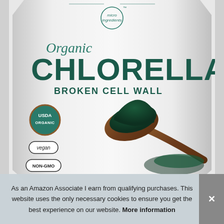[Figure (photo): Product photo of Micro Ingredients Organic Chlorella Broken Cell Wall powder supplement bag, with a wooden spoon of dark green chlorella powder, USDA Organic, vegan, and NON-GMO badges visible.]
As an Amazon Associate I earn from qualifying purchases. This website uses the only necessary cookies to ensure you get the best experience on our website. More information